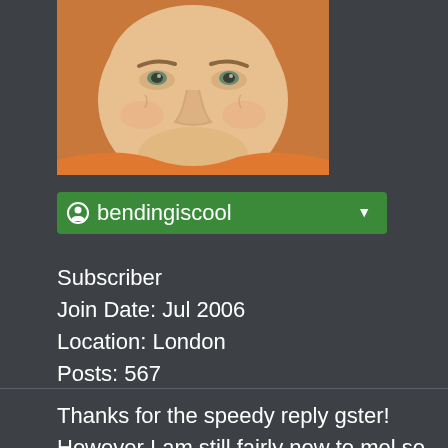[Figure (photo): Avatar image showing an animated/cartoon-style face of a middle-aged man with light skin, looking slightly to the side]
bendingiscool
Subscriber
Join Date: Jul 2006
Location: London
Posts: 567
Thanks for the speedy reply gster! However I am still fairly new to mel so am not sure how I would go about doing that and in which order, please enlighten lol